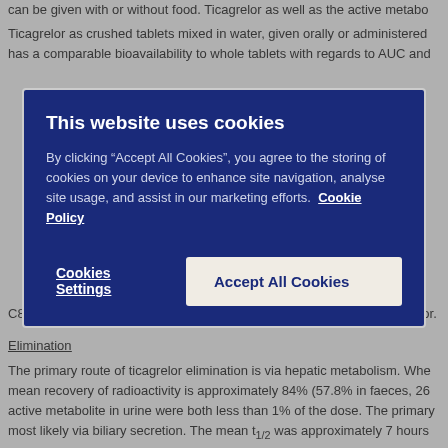can be given with or without food. Ticagrelor as well as the active metabo
Ticagrelor as crushed tablets mixed in water, given orally or administered has a comparable bioavailability to whole tablets with regards to AUC and
[Figure (screenshot): Cookie consent modal overlay on a dark dimmed background. Title: 'This website uses cookies'. Body text: 'By clicking "Accept All Cookies", you agree to the storing of cookies on your device to enhance site navigation, analyse site usage, and assist in our marketing efforts. Cookie Policy'. Buttons: 'Cookies Settings' (text/underline) and 'Accept All Cookies' (filled light button).]
C812 receptor. The systemic exposure to ticagrelor with one ap ticagrelor.
Elimination
The primary route of ticagrelor elimination is via hepatic metabolism. When mean recovery of radioactivity is approximately 84% (57.8% in faeces, 26 active metabolite in urine were both less than 1% of the dose. The primary most likely via biliary secretion. The mean t1/2 was approximately 7 hours metabolite.
Special populations
Elderly
Higher exposures to ticagrelor (approximately 25% for both Cmax and AUC